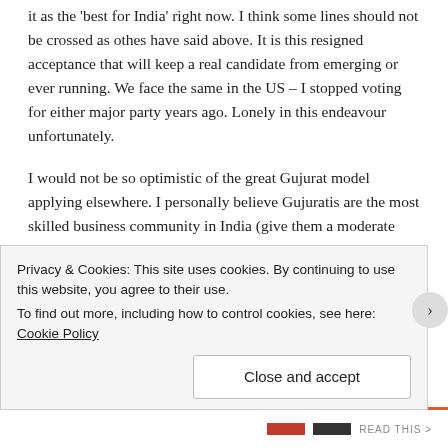it as the 'best for India' right now. I think some lines should not be crossed as othes have said above. It is this resigned acceptance that will keep a real candidate from emerging or ever running. We face the same in the US – I stopped voting for either major party years ago. Lonely in this endeavour unfortunately.
I would not be so optimistic of the great Gujurat model applying elsewhere. I personally believe Gujuratis are the most skilled business community in India (give them a moderate disadvantage and they will still come out on top making money!). Give them a few advantages like Modi did and there is no chance of failure. Look at Gujurati communities anywhere in the world.
In your favor are a few arguments I need to learn more about –
Privacy & Cookies: This site uses cookies. By continuing to use this website, you agree to their use.
To find out more, including how to control cookies, see here: Cookie Policy
Close and accept